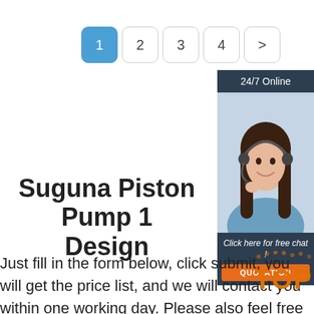[Figure (screenshot): Pagination bar with buttons: 1 (active/blue), 2, 3, 4, >]
[Figure (infographic): 24/7 Online chat widget with a woman wearing headset, 'Click here for free chat!' text and orange QUOTATION button]
Suguna Piston Pump 1 Design
Just fill in the form below, click submit, you will get the price list, and we will contact you within one working day. Please also feel free to contact us via
[Figure (logo): TOP logo with orange text and dot pattern]